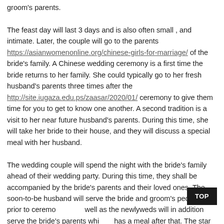groom's parents.

The feast day will last 3 days and is also often small , and intimate. Later, the couple will go to the parents https://asianwomenonline.org/chinese-girls-for-marriage/ of the bride's family. A Chinese wedding ceremony is a first time the bride returns to her family. She could typically go to her fresh husband's parents three times after the http://site.iugaza.edu.ps/zaasar/2020/01/ ceremony to give them time for you to get to know one another. A second tradition is a visit to her near future husband's parents. During this time, she will take her bride to their house, and they will discuss a special meal with her husband.

The wedding couple will spend the night with the bride's family ahead of their wedding party. During this time, they shall be accompanied by the bride's parents and their loved ones. The soon-to-be husband will serve the bride and groom's people tea prior to ceremony, well as the newlyweds will in addition serve the bride's parents which has a meal after that. The star of the wedding will also have her own